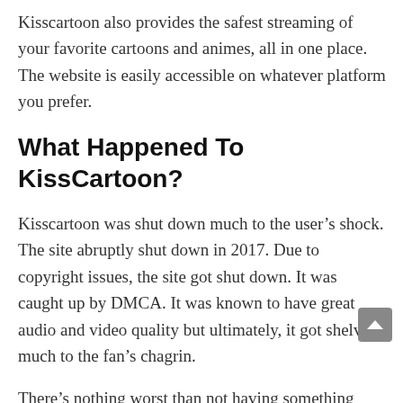Kisscartoon also provides the safest streaming of your favorite cartoons and animes, all in one place. The website is easily accessible on whatever platform you prefer.
What Happened To KissCartoon?
Kisscartoon was shut down much to the user's shock. The site abruptly shut down in 2017. Due to copyright issues, the site got shut down. It was caught up by DMCA. It was known to have great audio and video quality but ultimately, it got shelved much to the fan's chagrin.
There's nothing worst than not having something dear to you. But don't you dare